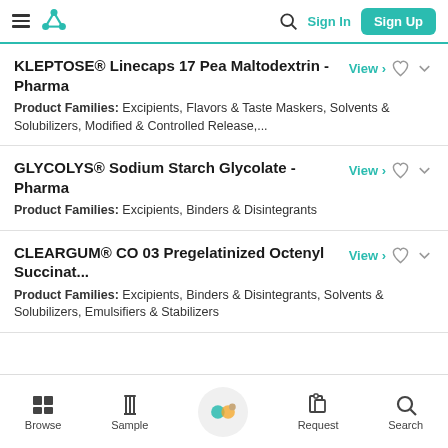Sign In | Sign Up
KLEPTOSE® Linecaps 17 Pea Maltodextrin - Pharma
Product Families: Excipients, Flavors & Taste Maskers, Solvents & Solubilizers, Modified & Controlled Release,...
GLYCOLYS® Sodium Starch Glycolate - Pharma
Product Families: Excipients, Binders & Disintegrants
CLEARGUM® CO 03 Pregelatinized Octenyl Succinat...
Product Families: Excipients, Binders & Disintegrants, Solvents & Solubilizers, Emulsifiers & Stabilizers
Browse | Sample | Request | Search